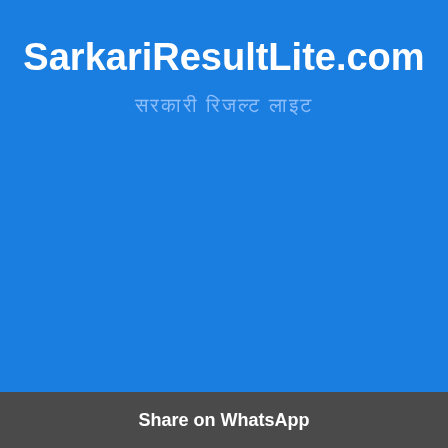SarkariResultLite.com
सरकारी रिजल्ट लाइट
Share on WhatsApp